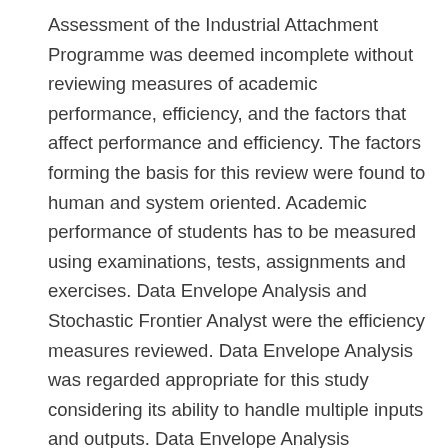Assessment of the Industrial Attachment Programme was deemed incomplete without reviewing measures of academic performance, efficiency, and the factors that affect performance and efficiency. The factors forming the basis for this review were found to human and system oriented. Academic performance of students has to be measured using examinations, tests, assignments and exercises. Data Envelope Analysis and Stochastic Frontier Analyst were the efficiency measures reviewed. Data Envelope Analysis was regarded appropriate for this study considering its ability to handle multiple inputs and outputs. Data Envelope Analysis estimates allocative, technical and economic efficiency which are key efficient measures. Some of the factors reviewed include financing, timing, evaluation and assessment methods of the programme. Linkage among students, tertiary education institutions, host organizations and various stake holders were other key factors. Courses covered before Industrial Attachment were noted as other key factors since the programme intends to marry theory learnt in the